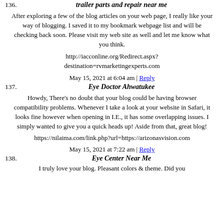136. trailer parts and repair near me
After exploring a few of the blog articles on your web page, I really like your way of blogging. I saved it to my bookmark webpage list and will be checking back soon. Please visit my web site as well and let me know what you think.
http://iacconline.org/Redirect.aspx?destination=rvmarketingexperts.com
May 15, 2021 at 6:04 am | Reply
137. Eye Doctor Ahwatukee
Howdy, There's no doubt that your blog could be having browser compatibility problems. Whenever I take a look at your website in Safari, it looks fine however when opening in I.E., it has some overlapping issues. I simply wanted to give you a quick heads up! Aside from that, great blog!
https://nilaima.com/link.php?url=https://arizonasvision.com
May 15, 2021 at 7:22 am | Reply
138. Eye Center Near Me
I truly love your blog. Pleasant colors & theme. Did you